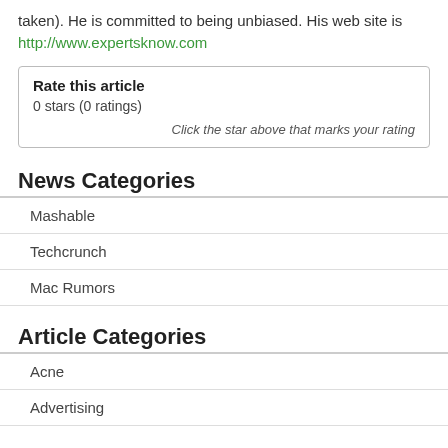taken). He is committed to being unbiased. His web site is http://www.expertsknow.com
Rate this article
0 stars (0 ratings)
Click the star above that marks your rating
News Categories
Mashable
Techcrunch
Mac Rumors
Article Categories
Acne
Advertising